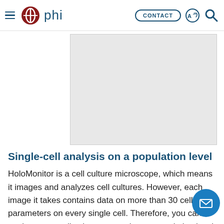phi — CONTACT
[Figure (photo): Light gray rectangular image placeholder area, likely a product or microscope image]
Single-cell analysis on a population level
HoloMonitor is a cell culture microscope, which means it images and analyzes cell cultures. However, each image it takes contains data on more than 30 cellular parameters on every single cell. Therefore, you can analyze your cell cultures not only at a population level but down to the single-cell level. The time-lapse images are automatically analyzed as your experiment g… Hence, it gives you graphs and scatterplots on sin… cell and population data in real time…